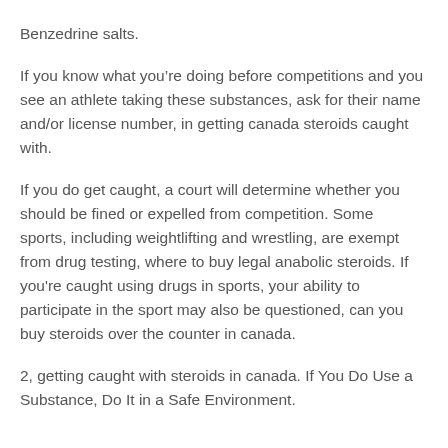Benzedrine salts.
If you know what you’re doing before competitions and you see an athlete taking these substances, ask for their name and/or license number, in getting canada steroids caught with.
If you do get caught, a court will determine whether you should be fined or expelled from competition. Some sports, including weightlifting and wrestling, are exempt from drug testing, where to buy legal anabolic steroids. If you're caught using drugs in sports, your ability to participate in the sport may also be questioned, can you buy steroids over the counter in canada.
2, getting caught with steroids in canada. If You Do Use a Substance, Do It in a Safe Environment.